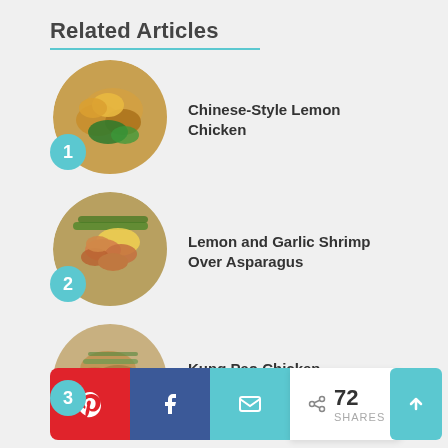Related Articles
Chinese-Style Lemon Chicken
Lemon and Garlic Shrimp Over Asparagus
Kung Pao Chicken
72 SHARES